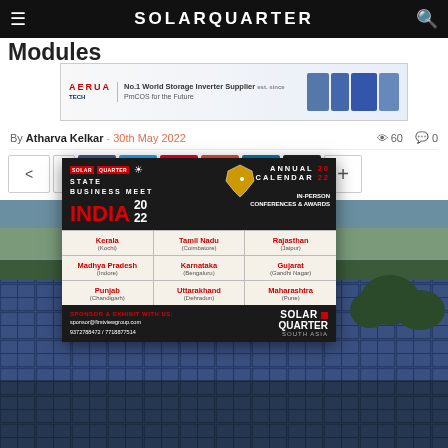SOLARQUARTER
Modules
[Figure (screenshot): Ad banner for AERUA TECH - No.1 World Storage Inverter Supplier]
By Atharva Kelkar - 30th May 2022 · 60 views · 0 comments
[Figure (infographic): Social share buttons: share, forward, Facebook, Twitter, Pinterest, Google+, LinkedIn, Email, More]
Advertisements
[Figure (infographic): SolarQuarter State Business Meet India 2022 advertisement. Annual Calendar 22. In-Person Conferences & Awards. States: Kerala (Kochi), Tamil Nadu (Coimbatore), Rajasthan (Jaipur), Madhya Pradesh (Indore), Karnataka (Bengaluru), Gujarat (Gandhi Nagar), Punjab (Chandigarh), Uttarakhand (Dehradun), Maharashtra (Pune). Sponsor & Exhibit with us: sponsor@firstviewgroup.com, 9372788472 / 7718877614. Solar Quarter South Asia.]
[Figure (photo): Aerial view of a large rooftop solar panel installation with blue sky and trees in the background]